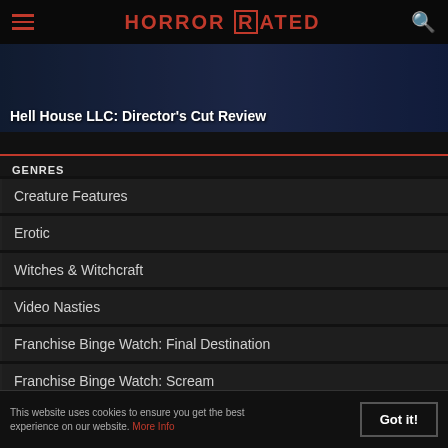HORROR RATED
Hell House LLC: Director's Cut Review
GENRES
Creature Features
Erotic
Witches & Witchcraft
Video Nasties
Franchise Binge Watch: Final Destination
Franchise Binge Watch: Scream
This website uses cookies to ensure you get the best experience on our website. More Info   Got it!